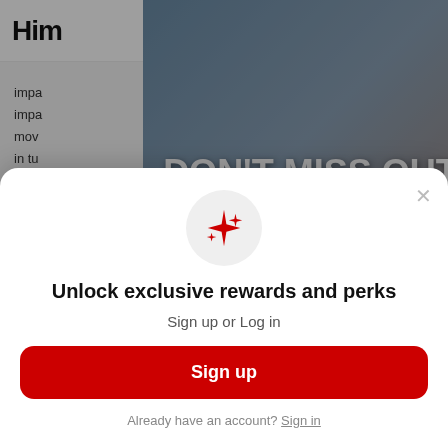[Figure (screenshot): Website navigation bar with 'Him' logo (partially visible), hamburger menu icon, and shopping cart icon on white background]
impa
impa
mov
in tu
[Figure (photo): Hero promotional image showing two women cyclists wearing helmets in front of apartment buildings. Overlaid text reads 'DON'T MISS OUT Take $20 off for your first ebike with promo' with a close (X) button. The $20 off text appears in red strikethrough style.]
H
c
c
u
r
[Figure (screenshot): Modal popup with sparkle icon in circular gray background, text 'Unlock exclusive rewards and perks', 'Sign up or Log in', a red 'Sign up' button, and 'Already have an account? Sign in' link. Close X button in top right.]